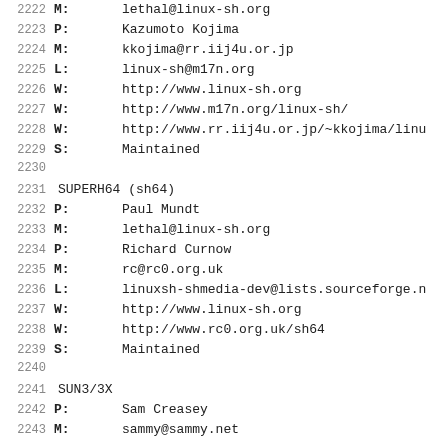2222   M:        lethal@linux-sh.org
2223   P:        Kazumoto Kojima
2224   M:        kkojima@rr.iij4u.or.jp
2225   L:        linux-sh@m17n.org
2226   W:        http://www.linux-sh.org
2227   W:        http://www.m17n.org/linux-sh/
2228   W:        http://www.rr.iij4u.or.jp/~kkojima/linu
2229   S:        Maintained
2230
2231   SUPERH64 (sh64)
2232   P:        Paul Mundt
2233   M:        lethal@linux-sh.org
2234   P:        Richard Curnow
2235   M:        rc@rc0.org.uk
2236   L:        linuxsh-shmedia-dev@lists.sourceforge.n
2237   W:        http://www.linux-sh.org
2238   W:        http://www.rc0.org.uk/sh64
2239   S:        Maintained
2240
2241   SUN3/3X
2242   P:        Sam Creasey
2243   M:        sammy@sammy.net